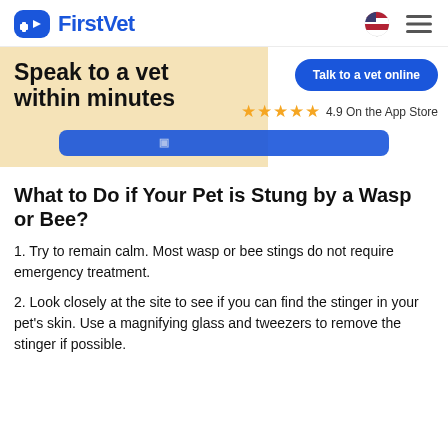FirstVet
[Figure (infographic): Hero banner with text 'Speak to a vet within minutes', a 'Talk to a vet online' blue button, and 4.9 star rating on the App Store. Beige/tan background with rounded blob shape.]
What to Do if Your Pet is Stung by a Wasp or Bee?
1. Try to remain calm. Most wasp or bee stings do not require emergency treatment.
2. Look closely at the site to see if you can find the stinger in your pet's skin. Use a magnifying glass and tweezers to remove the stinger if possible.